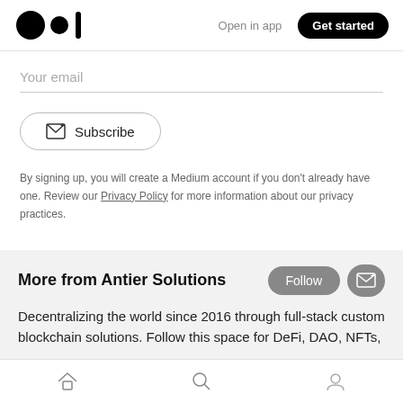[Figure (logo): Medium logo — two circles and a rectangle]
Open in app
Get started
Your email
Subscribe
By signing up, you will create a Medium account if you don't already have one. Review our Privacy Policy for more information about our privacy practices.
More from Antier Solutions
Follow
Decentralizing the world since 2016 through full-stack custom blockchain solutions. Follow this space for DeFi, DAO, NFTs,